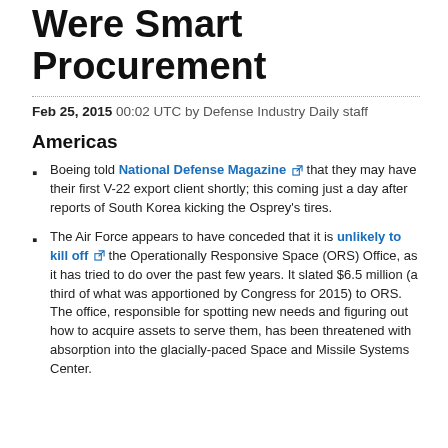Were Smart Procurement
Feb 25, 2015 00:02 UTC by Defense Industry Daily staff
Americas
Boeing told National Defense Magazine that they may have their first V-22 export client shortly; this coming just a day after reports of South Korea kicking the Osprey's tires.
The Air Force appears to have conceded that it is unlikely to kill off the Operationally Responsive Space (ORS) Office, as it has tried to do over the past few years. It slated $6.5 million (a third of what was apportioned by Congress for 2015) to ORS. The office, responsible for spotting new needs and figuring out how to acquire assets to serve them, has been threatened with absorption into the glacially-paced Space and Missile Systems Center.